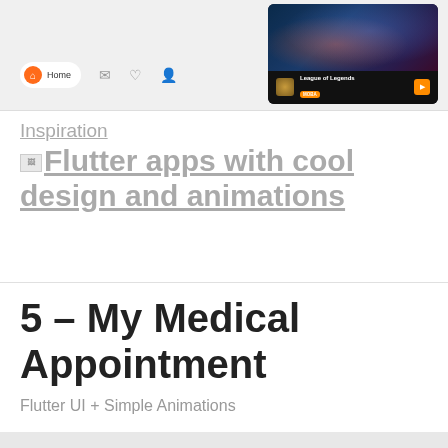[Figure (screenshot): Screenshot of a mobile app UI showing a navigation bar with Home icon, inbox, heart, and profile icons, plus a game card for League of Legends labeled MOBA with an orange play button]
Inspiration
Flutter apps with cool design and animations
5 – My Medical Appointment
Flutter UI + Simple Animations